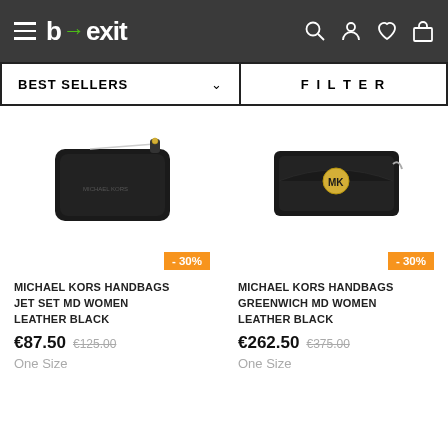[Figure (screenshot): b→exit website header with hamburger menu, logo, and icons for search, account, wishlist, and cart on dark background]
BEST SELLERS
FILTER
[Figure (photo): Michael Kors black leather Jet Set MD clutch handbag on white background]
[Figure (photo): Michael Kors black leather Greenwich MD chain wallet bag with gold MK logo on white background]
- 30%
- 30%
MICHAEL KORS HANDBAGS JET SET MD WOMEN LEATHER BLACK
MICHAEL KORS HANDBAGS GREENWICH MD WOMEN LEATHER BLACK
€87.50  €125.00
€262.50  €375.00
One Size
One Size